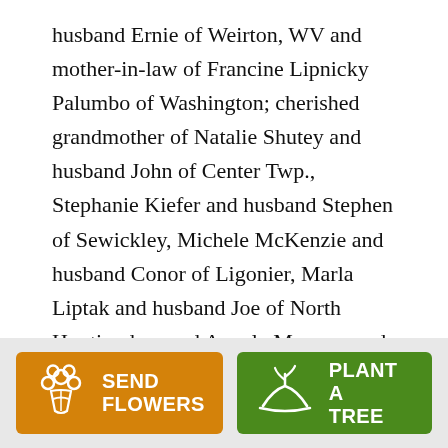husband Ernie of Weirton, WV and mother-in-law of Francine Lipnicky Palumbo of Washington; cherished grandmother of Natalie Shutey and husband John of Center Twp., Stephanie Kiefer and husband Stephen of Sewickley, Michele McKenzie and husband Conor of Ligonier, Marla Liptak and husband Joe of North Huntingdon, and Angela Marasco and husband Chris of Pittsburgh; and 10 great grandchildren John and Dominic Shutey, Alex and Nicholas Kiefer, Charles, Henry, and Baby McKenzie due in May, Brooklyn and Hailey Liptak; and Makayla and Hannah Marasco. She
[Figure (other): Two buttons: orange 'SEND FLOWERS' button with flower bouquet icon, and green 'PLANT A TREE' button with seedling/hand icon]